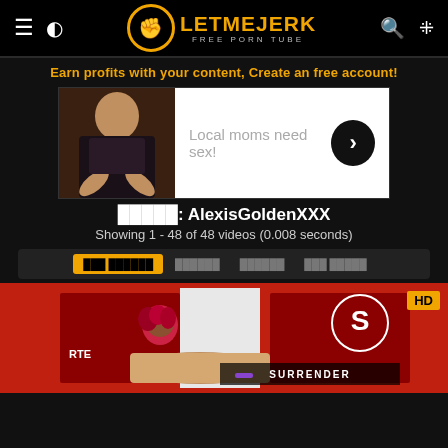LetMeJerk - Free Porn Tube
Earn profits with your content, Create an free account!
[Figure (photo): Advertisement banner with image on left and 'Local moms need sex!' text with arrow button on right]
█████: AlexisGoldenXXX
Showing 1 - 48 of 48 videos (0.008 seconds)
Filter buttons: ████ ██████  |  ██████  |  ██████  |  ███ █████
[Figure (photo): HD video thumbnail showing women wrestling/fighting scene with red and white background, HD badge in top right corner]